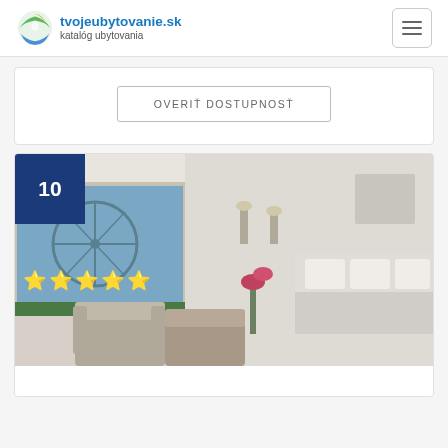[Figure (logo): tvojeubytovanie.sk logo with icon and text 'katalóg ubytovania']
OVERIŤ DOSTUPNOSŤ
[Figure (photo): Hotel room photo showing a bedroom with a white bed, armchairs, large window with a Ferris wheel view, and a floral arrangement. Overlaid with a blue badge showing '10' and five gold stars.]